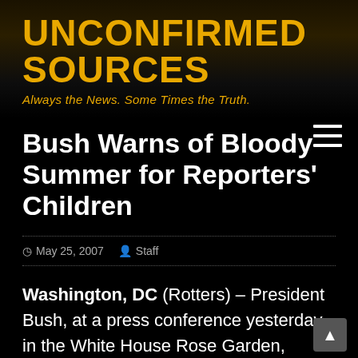[Figure (logo): Unconfirmed Sources website header banner with dark city skyline background, yellow/gold text reading UNCONFIRMED SOURCES and tagline Always the News. Some Times the Truth.]
Bush Warns of Bloody Summer for Reporters' Children
May 25, 2007  Staff
Washington, DC (Rotters) – President Bush, at a press conference yesterday in the White House Rose Garden, warned contentious reporters of a bloody summer in store for their children. Bristling at